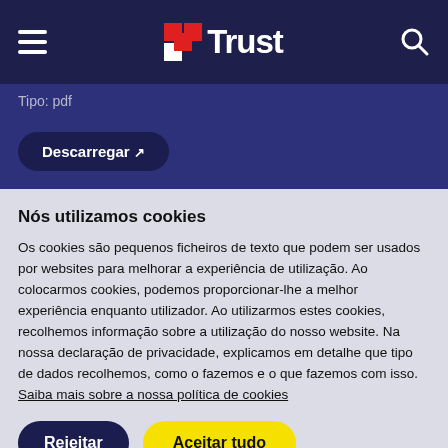Trust — navigation header with hamburger menu, Trust logo, and search icon
Tipo: pdf
Descarregar ↗
Nós utilizamos cookies
Os cookies são pequenos ficheiros de texto que podem ser usados por websites para melhorar a experiência de utilização. Ao colocarmos cookies, podemos proporcionar-lhe a melhor experiência enquanto utilizador. Ao utilizarmos estes cookies, recolhemos informação sobre a utilização do nosso website. Na nossa declaração de privacidade, explicamos em detalhe que tipo de dados recolhemos, como o fazemos e o que fazemos com isso. Saiba mais sobre a nossa política de cookies
Rejeitar
Aceitar tudo
Configurações de cookies